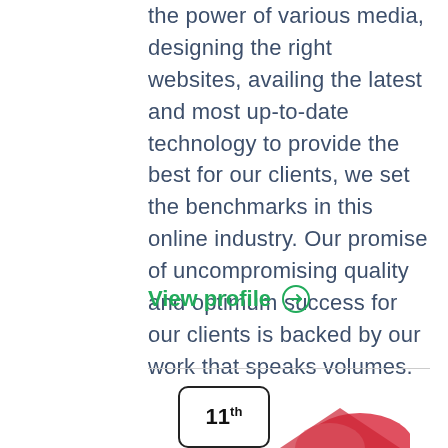the power of various media, designing the right websites, availing the latest and most up-to-date technology to provide the best for our clients, we set the benchmarks in this online industry. Our promise of uncompromising quality and optimum success for our clients is backed by our work that speaks volumes.
View profile →
[Figure (other): Badge showing '11th' rank inside a rounded rectangle box]
[Figure (logo): Partial logo visible at the bottom right, red and pink colored shapes]